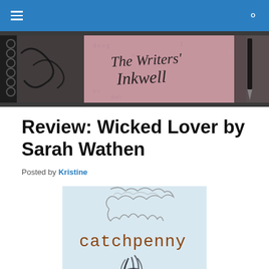The Writers' Inkwell — navigation bar
[Figure (illustration): The Writers' Inkwell blog banner — handwritten cursive text 'The Writers' Inkwell' over a pink/mauve background with a spiral notebook on the left and a fountain pen on the right, with scattered letters in the background.]
Review: Wicked Lover by Sarah Wathen
Posted by Kristine
[Figure (illustration): Book cover image for 'Catchpenny' — light blue/grey background with a sketch of curly hair at the top, and the word 'catchpenny' in brown typewriter-style font in the middle, with dark wispy ink-like tendrils at the bottom.]